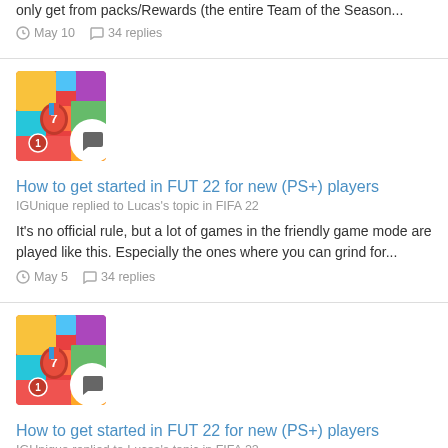only get from packs/Rewards (the entire Team of the Season...
May 10   34 replies
[Figure (illustration): User avatar with medal icon overlay showing a colorful abstract image with a number 1 medal badge and speech bubble icon]
How to get started in FUT 22 for new (PS+) players
IGUnique replied to Lucas's topic in FIFA 22
It's no official rule, but a lot of games in the friendly game mode are played like this. Especially the ones where you can grind for...
May 5   34 replies
[Figure (illustration): User avatar with medal icon overlay showing a colorful abstract image with a number 1 medal badge and speech bubble icon]
How to get started in FUT 22 for new (PS+) players
IGUnique replied to Lucas's topic in FIFA 22
If you play online friendlies it can go pretty fast since a lot of games are played like golden goal so your average match will take about 2...
May 5   34 replies